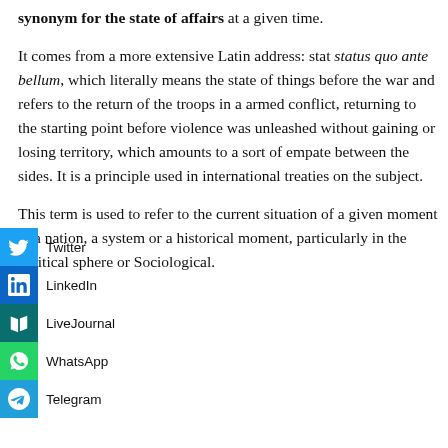synonym for the state of affairs at a given time.

It comes from a more extensive Latin address: stat status quo ante bellum, which literally means the state of things before the war and refers to the return of the troops in a armed conflict, returning to the starting point before violence was unleashed without gaining or losing territory, which amounts to a sort of empate between the sides. It is a principle used in international treaties on the subject.

This term is used to refer to the current situation of a given moment in a nation, a system or a historical moment, particularly in the political sphere or Sociological.